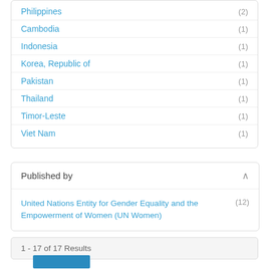Philippines (2)
Cambodia (1)
Indonesia (1)
Korea, Republic of (1)
Pakistan (1)
Thailand (1)
Timor-Leste (1)
Viet Nam (1)
Published by
United Nations Entity for Gender Equality and the Empowerment of Women (UN Women) (12)
1 - 17 of 17 Results
[Figure (photo): Blue thumbnail image at bottom of page]